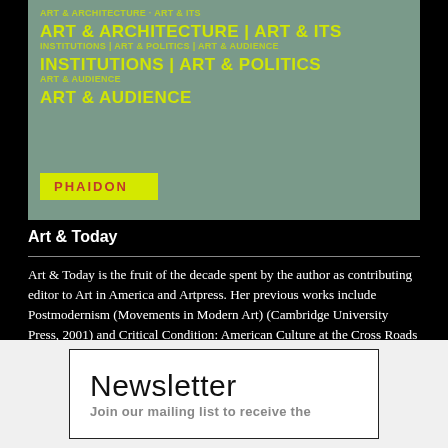[Figure (photo): Book cover of 'Art & Today' published by Phaidon, with a grey-green background featuring bold yellow uppercase text listing art topics: ART & ARCHITECTURE, ART & ITS INSTITUTIONS, ART & POLITICS, ART & AUDIENCE. A yellow Phaidon logo box appears at the bottom left.]
Art & Today
Art & Today is the fruit of the decade spent by the author as contributing editor to Art in America and Artpress. Her previous works include Postmodernism (Movements in Modern Art) (Cambridge University Press, 2001) and Critical Condition: American Culture at the Cross Roads (Cambridge University Press, 1997), as well as Postmodern Heretics: The Catholic Imagination in Contemporary Art (Midmarch Arts Press, 2004) and Defending Complexity: Art, Politics and the New World Order (Hard Press, 2006).
Newsletter
Join our mailing list to receive the